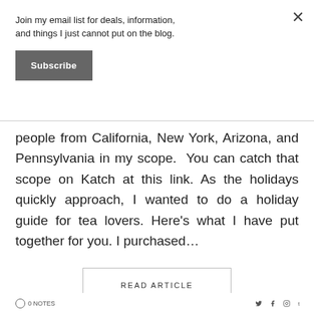Join my email list for deals, information, and things I just cannot put on the blog.
Subscribe
people from California, New York, Arizona, and Pennsylvania in my scope.  You can catch that scope on Katch at this link. As the holidays quickly approach, I wanted to do a holiday guide for tea lovers. Here's what I have put together for you. I purchased…
READ ARTICLE